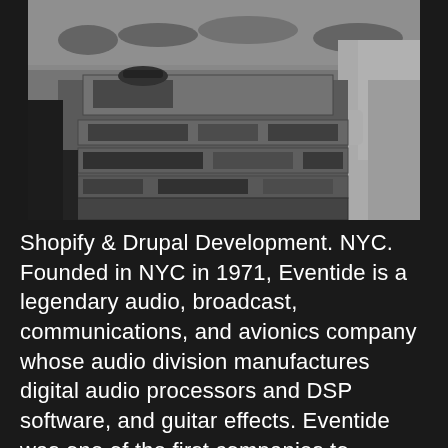[Figure (photo): Black and white photograph of audio/broadcast equipment stacked on stage at a large concert, with a person operating the equipment. A crowd is visible in the background.]
Shopify & Drupal Development. NYC. Founded in NYC in 1971, Eventide is a legendary audio, broadcast, communications, and avionics company whose audio division manufactures digital audio processors and DSP software, and guitar effects. Eventide was one of the first companies to manufacture digital audio